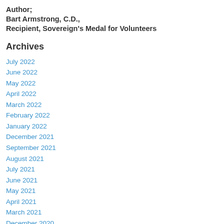Author;
Bart Armstrong, C.D.,
Recipient, Sovereign's Medal for Volunteers
Archives
July 2022
June 2022
May 2022
April 2022
March 2022
February 2022
January 2022
December 2021
September 2021
August 2021
July 2021
June 2021
May 2021
April 2021
March 2021
December 2020